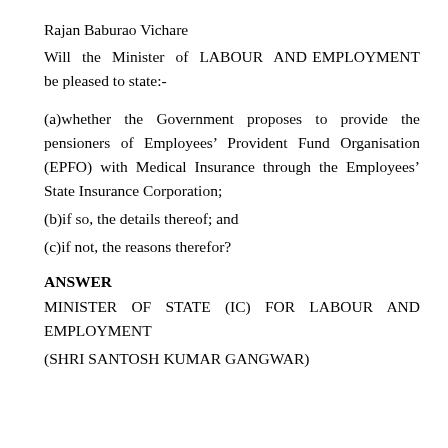Rajan Baburao Vichare
Will the Minister of LABOUR AND EMPLOYMENT be pleased to state:-
(a)whether the Government proposes to provide the pensioners of Employees’ Provident Fund Organisation (EPFO) with Medical Insurance through the Employees’ State Insurance Corporation;
(b)if so, the details thereof; and
(c)if not, the reasons therefor?
ANSWER
MINISTER OF STATE (IC) FOR LABOUR AND EMPLOYMENT
(SHRI SANTOSH KUMAR GANGWAR)